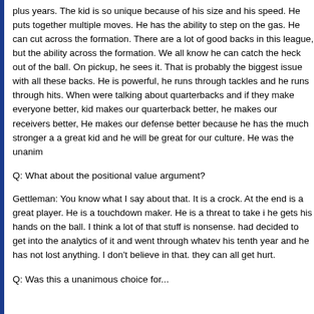plus years. The kid is so unique because of his size and his speed. He puts together multiple moves. He has the ability to step on the gas. He can cut across the formation. There are a lot of good backs in this league, but the ability across the formation. We all know he can catch the heck out of the ball. On pickup, he sees it. That is probably the biggest issue with all these backs. He is powerful, he runs through tackles and he runs through hits. When we were talking about quarterbacks and if they make everyone better, this kid makes our quarterback better, he makes our receivers better, he makes our O-line better. He makes our defense better because he has the much stronger and he is a great kid and he will be great for our culture. He was the unanimous...
Q: What about the positional value argument?
Gettleman: You know what I say about that. It is a crock. At the end of the day he is a great player. He is a touchdown maker. He is a threat to take it to the house when he gets his hands on the ball. I think a lot of that stuff is nonsense. We had decided to get into the analytics of it and went through whatever. He is in his tenth year and he has not lost anything. I don't believe in that. Quarterbacks, they can all get hurt.
Q: Was this a unanimous choice for...